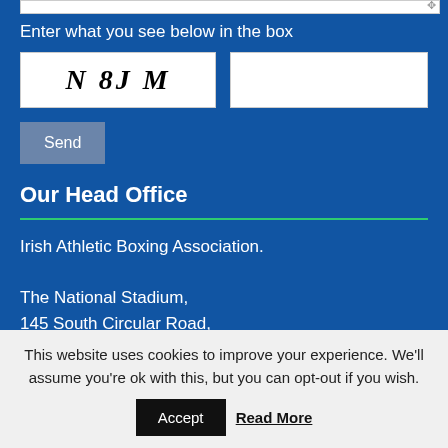Enter what you see below in the box
[Figure (screenshot): CAPTCHA image showing the text 'N 8 J M' in bold italic serif font]
Send
Our Head Office
Irish Athletic Boxing Association.
The National Stadium,
145 South Circular Road,
Dublin 8,
D08 HY40,
Ireland.
Tel: +353 1 453 3371
This website uses cookies to improve your experience. We'll assume you're ok with this, but you can opt-out if you wish.
Accept
Read More